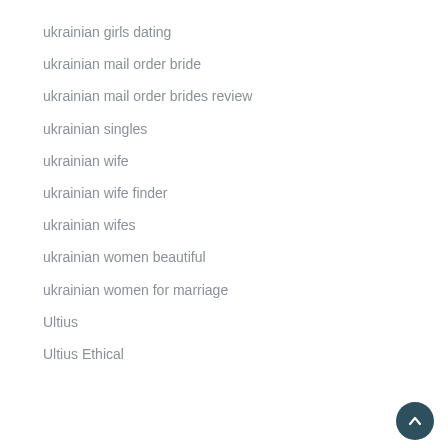ukrainian girls dating
ukrainian mail order bride
ukrainian mail order brides review
ukrainian singles
ukrainian wife
ukrainian wife finder
ukrainian wifes
ukrainian women beautiful
ukrainian women for marriage
Ultius
Ultius Ethical